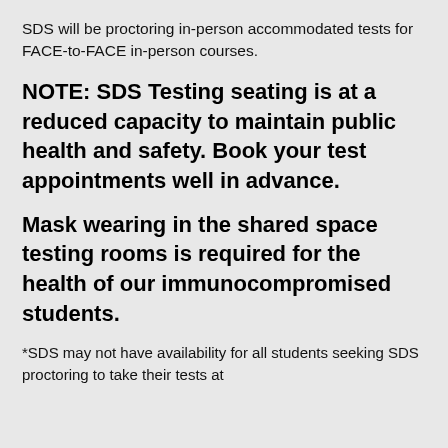SDS will be proctoring in-person accommodated tests for FACE-to-FACE in-person courses.
NOTE: SDS Testing seating is at a reduced capacity to maintain public health and safety. Book your test appointments well in advance.
Mask wearing in the shared space testing rooms is required for the health of our immunocompromised students.
*SDS may not have availability for all students seeking SDS proctoring to take their tests at